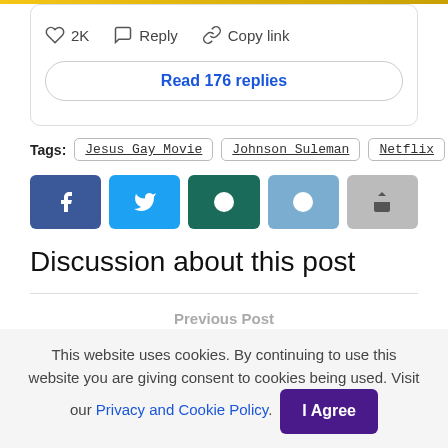♡ 2K  ◯ Reply  🔗 Copy link
Read 176 replies
Tags: Jesus Gay Movie  Johnson Suleman  Netflix
[Figure (other): Social share buttons: Facebook, Twitter, WhatsApp, Reddit, Share]
Discussion about this post
Previous Post
This website uses cookies. By continuing to use this website you are giving consent to cookies being used. Visit our Privacy and Cookie Policy.  I Agree